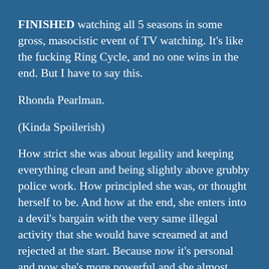FINISHED watching all 5 seasons in some gross, masocistic event of TV watching. It's like the fucking Ring Cycle, and no one wins in the end. But I have to say this.
Rhonda Pearlman.
(Kinda Spoilerish)
How strict she was about legality and keeping everything clean and being slightly above grubby police work. How principled she was, or thought herself to be. And how at the end, she enters into a devil's bargain with the very same illegal activity that she would have screamed at and rejected at the start. Because now it's personal and now she's more powerful and she almost ..almost completely looses all her principles and legal uprightness that she had had in the beginning. Cause she's in love, cause she now has a real career, cause suddenly everything is bigger and